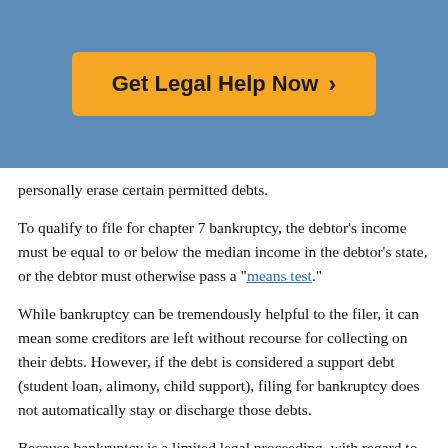[Figure (other): Blue banner header with orange 'Get Legal Help Now >' call-to-action button]
personally erase certain permitted debts.
To qualify to file for chapter 7 bankruptcy, the debtor's income must be equal to or below the median income in the debtor's state, or the debtor must otherwise pass a "means test."
While bankruptcy can be tremendously helpful to the filer, it can mean some creditors are left without recourse for collecting on their debts. However, if the debt is considered a support debt (student loan, alimony, child support), filing for bankruptcy does not automatically stay or discharge those debts.
Because bankruptcy is a limited legal proceeding, with regard to these support debts the filer must seek to modify the underlying orders creating these legal